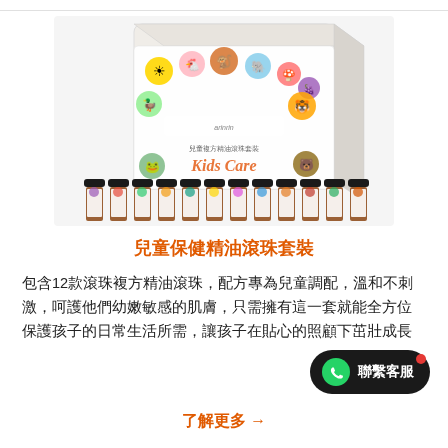[Figure (photo): Kids Care essential oil roller ball set product photo showing a decorative box with cartoon animals and 12 small roller bottles arranged in front]
兒童保健精油滾珠套裝
包含12款滾珠複方精油滾珠，配方專為兒童調配，溫和不刺激，呵護他們幼嫩敏感的肌膚，只需擁有這一套就能全方位保護孩子的日常生活所需，讓孩子在貼心的照顧下茁壯成長
[Figure (other): WhatsApp contact button with 聯繫客服 label and red notification dot]
了解更多 →